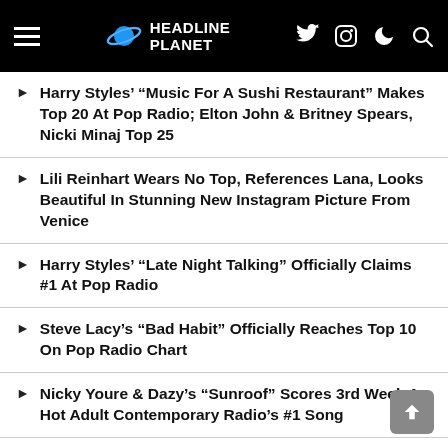HEADLINE PLANET
Harry Styles' "Music For A Sushi Restaurant" Makes Top 20 At Pop Radio; Elton John & Britney Spears, Nicki Minaj Top 25
Lili Reinhart Wears No Top, References Lana, Looks Beautiful In Stunning New Instagram Picture From Venice
Harry Styles' “Late Night Talking” Officially Claims #1 At Pop Radio
Steve Lacy’s “Bad Habit” Officially Reaches Top 10 On Pop Radio Chart
Nicky Youre & Dazy’s “Sunroof” Scores 3rd Week As Hot Adult Contemporary Radio’s #1 Song
The Killers’ “Boy” Officially Rises To #1 On Alternative Radio Chart
Cardi B, Kanye West & Lil Durk’s “Hot Ish” Earns #1 On Rhythmic Urban Radio Chart